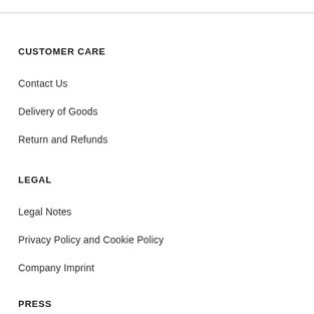CUSTOMER CARE
Contact Us
Delivery of Goods
Return and Refunds
LEGAL
Legal Notes
Privacy Policy and Cookie Policy
Company Imprint
PRESS